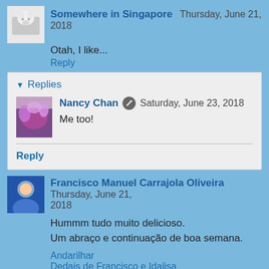Somewhere in Singapore  Thursday, June 21, 2018
Otah, I like...
Reply
Replies
Nancy Chan  Saturday, June 23, 2018
Me too!
Reply
Francisco Manuel Carrajola Oliveira  Thursday, June 21, 2018
Hummm tudo muito delicioso.
Um abraço e continuação de boa semana.
Andarilhar
Dedais de Francisco e Idalisa
O prazer dos livros